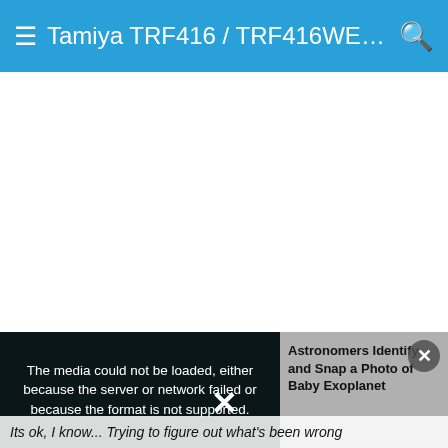Tamiya TRF416 / TRF416WE / ...
[Figure (screenshot): White blank content area below header navigation bar]
[Figure (screenshot): Video player error overlay showing message: 'The media could not be loaded, either because the server or network failed or because the format is not supported.' alongside an article preview panel titled 'Astronomers Identify and Snap a Photo of Baby Exoplanet' with a close (X) button]
Its ok, I know... Trying to figure out what's been wrong